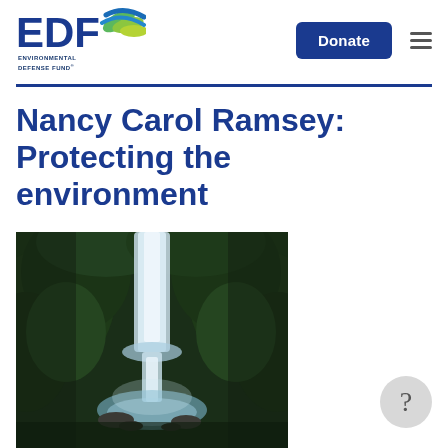[Figure (logo): EDF Environmental Defense Fund logo with blue/green leaf and wind motif graphic]
Donate
Nancy Carol Ramsey: Protecting the environment
[Figure (photo): Photograph of a waterfall surrounded by lush green foliage in a forested gorge]